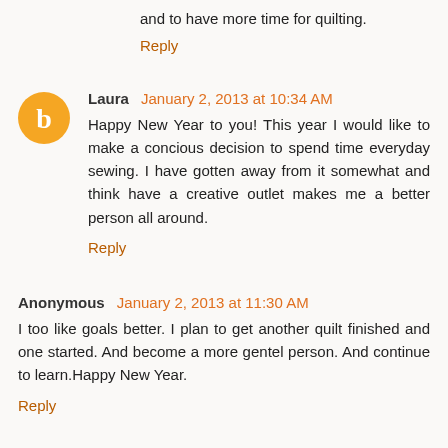and to have more time for quilting.
Reply
Laura  January 2, 2013 at 10:34 AM
Happy New Year to you! This year I would like to make a concious decision to spend time everyday sewing. I have gotten away from it somewhat and think have a creative outlet makes me a better person all around.
Reply
Anonymous  January 2, 2013 at 11:30 AM
I too like goals better. I plan to get another quilt finished and one started. And become a more gentel person. And continue to learn.Happy New Year.
Reply